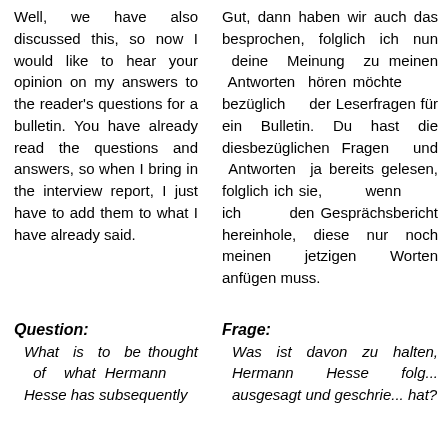Well, we have also discussed this, so now I would like to hear your opinion on my answers to the reader's questions for a bulletin. You have already read the questions and answers, so when I bring in the interview report, I just have to add them to what I have already said.
Gut, dann haben wir auch das besprochen, folglich ich nun deine Meinung zu meinen Antworten hören möchte bezüglich der Leserfragen für ein Bulletin. Du hast die diesbezüglichen Fragen und Antworten ja bereits gelesen, folglich ich sie, wenn ich den Gesprächsbericht hereinhole, diese nur noch meinen jetzigen Worten anfügen muss.
Question:
What is to be thought of what Hermann Hesse has subsequently
Frage:
Was ist davon zu halten, Hermann Hesse folg... ausgesagt und geschrie... hat?